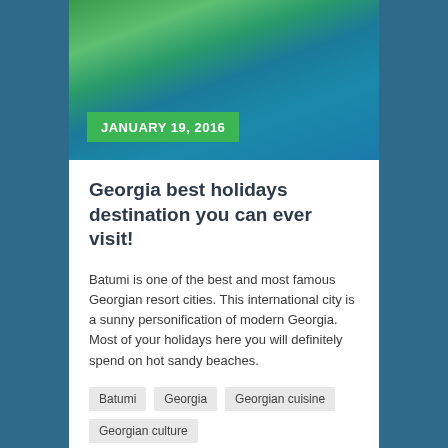[Figure (photo): Aerial view of coastline with blue-green ocean water and green trees/vegetation along the shore, used as hero image for travel blog post about Georgia.]
JANUARY 19, 2016
Georgia best holidays destination you can ever visit!
Batumi is one of the best and most famous Georgian resort cities. This international city is a sunny personification of modern Georgia. Most of your holidays here you will definitely spend on hot sandy beaches.
Batumi
Georgia
Georgian cuisine
Georgian culture
Read more